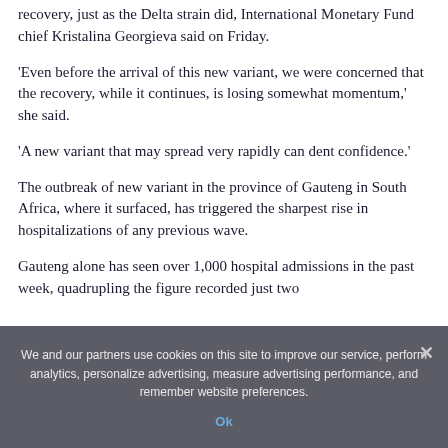recovery, just as the Delta strain did, International Monetary Fund chief Kristalina Georgieva said on Friday.
'Even before the arrival of this new variant, we were concerned that the recovery, while it continues, is losing somewhat momentum,' she said.
'A new variant that may spread very rapidly can dent confidence.'
The outbreak of new variant in the province of Gauteng in South Africa, where it surfaced, has triggered the sharpest rise in hospitalizations of any previous wave.
Gauteng alone has seen over 1,000 hospital admissions in the past week, quadrupling the figure recorded just two
We and our partners use cookies on this site to improve our service, perform analytics, personalize advertising, measure advertising performance, and remember website preferences.
Ok